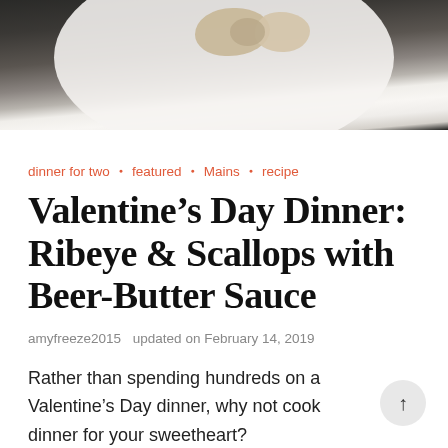[Figure (photo): Photo of scallops on a white plate, top portion visible]
dinner for two • featured • Mains • recipe
Valentine's Day Dinner: Ribeye & Scallops with Beer-Butter Sauce
amyfreeze2015  updated on February 14, 2019
Rather than spending hundreds on a Valentine's Day dinner, why not cook dinner for your sweetheart?